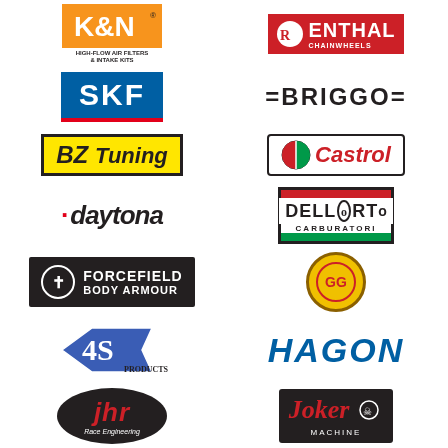[Figure (logo): K&N High-Flow Air Filters & Intake Kits logo]
[Figure (logo): Renthal Chainwheels logo]
[Figure (logo): SKF logo]
[Figure (logo): =BRIGGO= logo]
[Figure (logo): BZ Tuning logo]
[Figure (logo): Castrol logo]
[Figure (logo): daytona logo]
[Figure (logo): Dell'Orto Carburatori logo]
[Figure (logo): Forcefield Body Armour logo]
[Figure (logo): GG (circular emblem) logo]
[Figure (logo): 4S Products logo]
[Figure (logo): HAGON logo]
[Figure (logo): JHR Race Engineering logo]
[Figure (logo): Joker Machine logo]